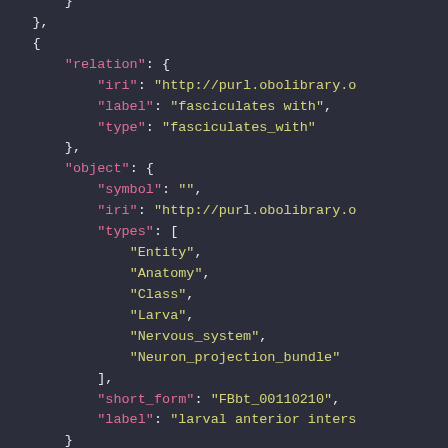JSON code block showing relation and object fields with iri, label, type, symbol, types array (Entity, Anatomy, Class, Larva, Nervous_system, Neuron_projection_bundle), short_form FBbt_00110210, and label larval anterior inters...